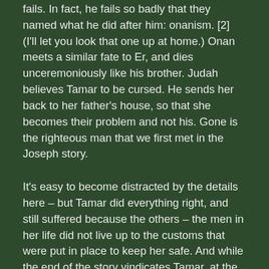fails.  In fact, he fails so badly that they named what he did after him: onanism. [2] (I'll let you look that one up at home.)  Onan meets a similar fate to Er, and dies unceremoniously like his brother.  Judah believes Tamar to be cursed.  He sends her back to her father's house, so that she becomes their problem and not his.  Gone is the righteous man that we first met in the Joseph story.
It's easy to become distracted by the details here – but Tamar did everything right, and still suffered because the others – the men in her life did not live up to the customs that were put in place to keep her safe.  And while the end of the story vindicates Tamar, at the time, we know she carried the weight of not producing an heir.  She went through two husbands and nothing.  She carried the guilt.  She was blamed not just because of the death, but because of her inability to bring life.  She was sent away for ten years.  She was constricted and bound by her garments of